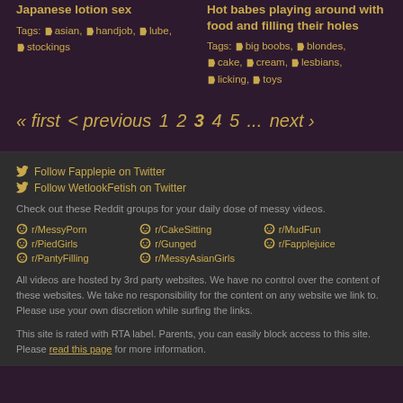Japanese lotion sex
Tags: asian, handjob, lube, stockings
Hot babes playing around with food and filling their holes
Tags: big boobs, blondes, cake, cream, lesbians, licking, toys
« first  < previous  1  2  3  4  5  ...  next >
Follow Fapplepie on Twitter
Follow WetlookFetish on Twitter
Check out these Reddit groups for your daily dose of messy videos.
r/MessyPorn
r/CakeSitting
r/MudFun
r/PiedGirls
r/Gunged
r/Fapplejuice
r/PantyFilling
r/MessyAsianGirls
All videos are hosted by 3rd party websites. We have no control over the content of these websites. We take no responsibility for the content on any website we link to. Please use your own discretion while surfing the links.
This site is rated with RTA label. Parents, you can easily block access to this site. Please read this page for more information.